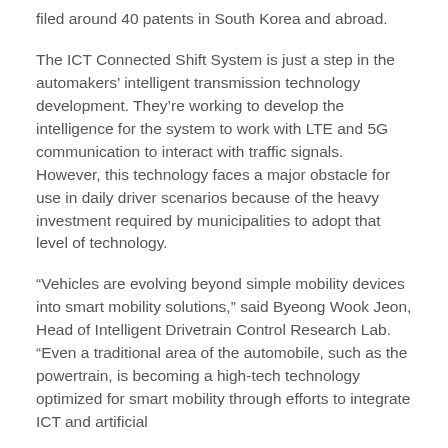filed around 40 patents in South Korea and abroad.
The ICT Connected Shift System is just a step in the automakers' intelligent transmission technology development. They're working to develop the intelligence for the system to work with LTE and 5G communication to interact with traffic signals. However, this technology faces a major obstacle for use in daily driver scenarios because of the heavy investment required by municipalities to adopt that level of technology.
“Vehicles are evolving beyond simple mobility devices into smart mobility solutions,” said Byeong Wook Jeon, Head of Intelligent Drivetrain Control Research Lab. “Even a traditional area of the automobile, such as the powertrain, is becoming a high-tech technology optimized for smart mobility through efforts to integrate ICT and artificial